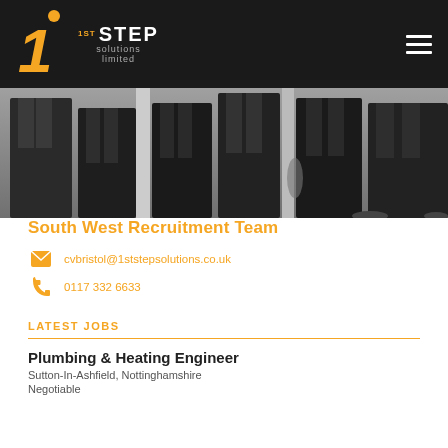[Figure (logo): 1st Step Solutions Limited logo — orange numeral 1 with dot, text '1ST STEP solutions limited' in white and orange on black background, hamburger menu icon top right]
[Figure (photo): Photo strip showing lower bodies of people in dark suits standing together]
South West Recruitment Team
cvbristol@1ststepsolutions.co.uk
0117 332 6633
LATEST JOBS
Plumbing & Heating Engineer
Sutton-In-Ashfield, Nottinghamshire
Negotiable